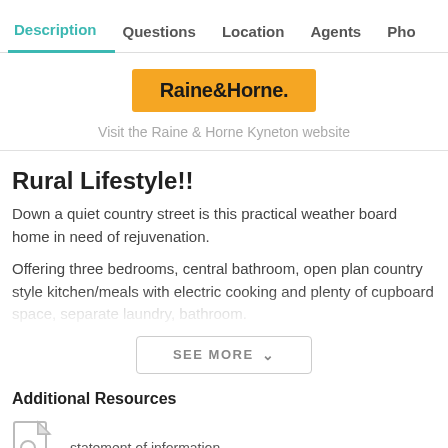Description  Questions  Location  Agents  Pho
[Figure (logo): Raine&Horne yellow logo badge]
Visit the Raine & Horne Kyneton website
Rural Lifestyle!!
Down a quiet country street is this practical weather board home in need of rejuvenation.
Offering three bedrooms, central bathroom, open plan country style kitchen/meals with electric cooking and plenty of cupboard space, separate laundry...
Additional Resources
statement of information